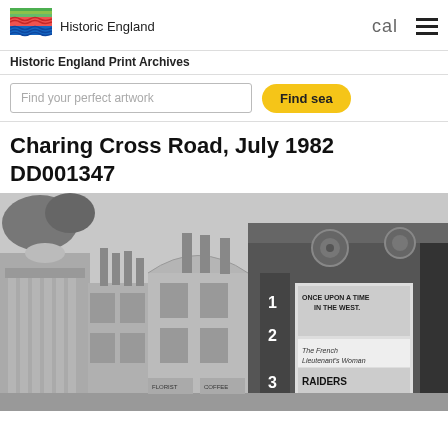Historic England | cal | menu
Historic England Print Archives
Find your perfect artwork | Find search
Charing Cross Road, July 1982
DD001347
[Figure (photo): Black and white photograph of Charing Cross Road, July 1982, showing a row of buildings including a cinema (Filmcenta) with movie posters for 'Once Upon a Time in the West', 'The French Lieutenant's Woman', and 'Raiders [of the Lost Ark]'. Screen numbers 1, 2, 3 are visible. The street features Victorian and Edwardian architecture.]